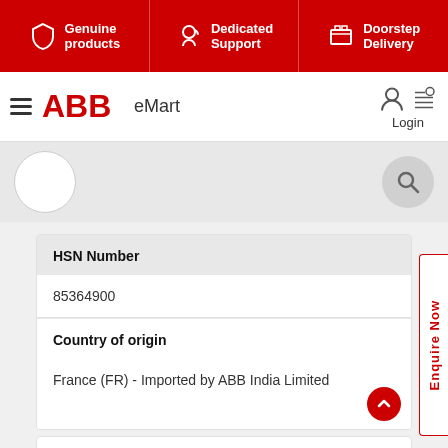[Figure (screenshot): ABB eMart website top banner with three sections: Genuine products, Dedicated Support, Doorstep Delivery on red background]
ABB eMart | Login
| HSN Number | Country of origin |
| --- | --- |
| 85364900 | France (FR) - Imported by ABB India Limited |
Download
Reviews